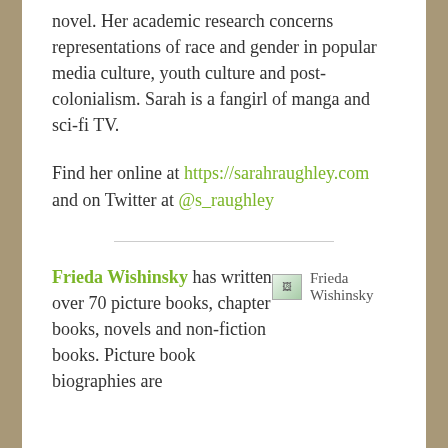novel. Her academic research concerns representations of race and gender in popular media culture, youth culture and post-colonialism. Sarah is a fangirl of manga and sci-fi TV.
Find her online at https://sarahraughley.com and on Twitter at @s_raughley
Frieda Wishinsky has written over 70 picture books, chapter books, novels and non-fiction books. Picture book biographies are
[Figure (photo): Placeholder image for Frieda Wishinsky author photo]